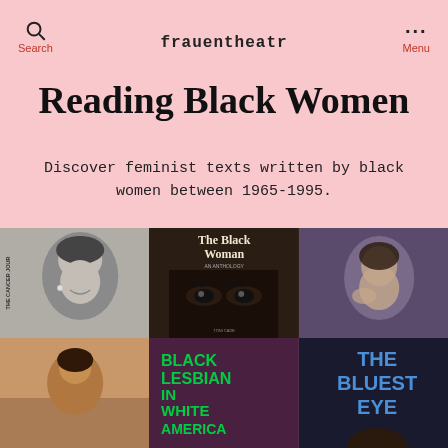Search | frauentheatr | Menu
Reading Black Women
Discover feminist texts written by black women between 1965-1995.
[Figure (photo): Six book covers arranged in a 3x2 grid featuring works by Black women authors including The Black Woman anthology and The Bluest Eye, along with images of Black women authors. Titles visible include 'THE CANCER JOUR', 'The Black Woman', 'BLACK LESBIAN IN WHITE AMERICA', and 'THE BLUEST EYE'.]